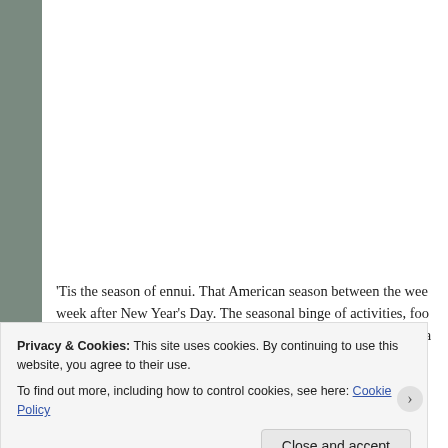[Figure (photo): Nighttime winter scene showing a snowy sidewalk or park area with trees, a street lamp, and warm ambient lighting. Snow covers the ground, and blurred tree branches (possibly decorated with lights) are visible on the left. The scene has a yellow-green color cast from artificial lighting.]
'Tis the season of ennui. That American season between the wee... week after New Year's Day. The seasonal binge of activities, foo... faithful resist this powerful cultural vortex? For my household, a...
Privacy & Cookies: This site uses cookies. By continuing to use this website, you agree to their use.
To find out more, including how to control cookies, see here: Cookie Policy
Close and accept